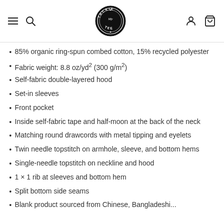Tackie My Tee — navigation header with logo
85% organic ring-spun combed cotton, 15% recycled polyester
Fabric weight: 8.8 oz/yd² (300 g/m²)
Self-fabric double-layered hood
Set-in sleeves
Front pocket
Inside self-fabric tape and half-moon at the back of the neck
Matching round drawcords with metal tipping and eyelets
Twin needle topstitch on armhole, sleeve, and bottom hems
Single-needle topstitch on neckline and hood
1 × 1 rib at sleeves and bottom hem
Split bottom side seams
Blank product sourced from Chinese, Bangladeshi...